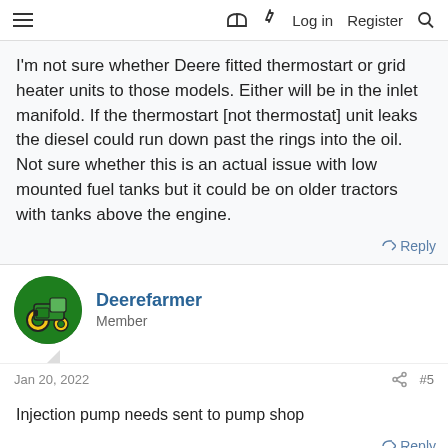≡  [book icon] [lightning icon]  Log in  Register  [search icon]
I'm not sure whether Deere fitted thermostart or grid heater units to those models. Either will be in the inlet manifold. If the thermostart [not thermostat] unit leaks the diesel could run down past the rings into the oil. Not sure whether this is an actual issue with low mounted fuel tanks but it could be on older tractors with tanks above the engine.
↩ Reply
Deerefarmer
Member
Jan 20, 2022   #5
Injection pump needs sent to pump shop
↩ Reply
R&D